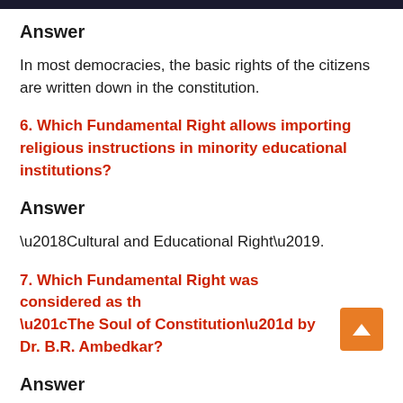Answer
In most democracies, the basic rights of the citizens are written down in the constitution.
6. Which Fundamental Right allows importing religious instructions in minority educational institutions?
Answer
‘Cultural and Educational Right’.
7. Which Fundamental Right was considered as the “The Soul of Constitution” by Dr. B.R. Ambedkar?
Answer